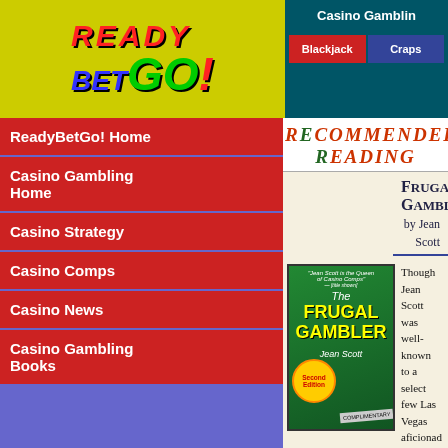READY BET GO! — Casino Gambling — Blackjack — Craps
ReadyBetGo! Home
Casino Gambling Home
Casino Strategy
Casino Comps
Casino News
Casino Gambling Books
RECOMMENDED READING
Frugal Gambler
by Jean Scott
[Figure (illustration): Cover of The Frugal Gambler book by Jean Scott, green cover with yellow title text, Second Edition badge, complimentary check]
Though Jean Scott was well-known to a select few Las Vegas aficionados throughout the '90s, it wasn't until the publication of The Frugal Gambler in 1998 that she became a household name to casino players across the country. Her frequent national publicity, her long-term success in casinos around the world, and the solid low-rolling advantage-play techniques she's divulged along the way have all helped catapult The Frugal Gambler into the ranks of best-selling gambling books. The new revised edition includes a completely revamped chapter on video poker, updated coverage of getting the most out of slot clubs, recent examples of exploitable gambling promotions, and a brand new Resources section, identifying the best sources of player information available-from books to software to